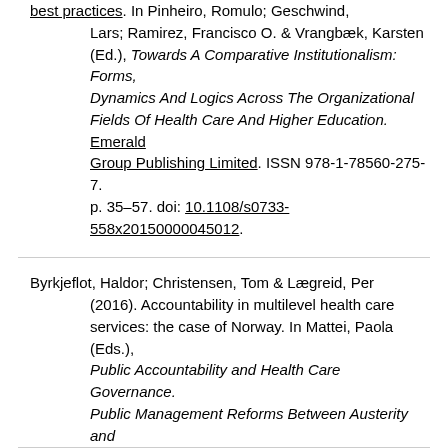best practices. In Pinheiro, Romulo; Geschwind, Lars; Ramirez, Francisco O. & Vrangbæk, Karsten (Ed.), Towards A Comparative Institutionalism: Forms, Dynamics And Logics Across The Organizational Fields Of Health Care And Higher Education. Emerald Group Publishing Limited. ISSN 978-1-78560-275-7. p. 35–57. doi: 10.1108/s0733-558x20150000045012.
Byrkjeflot, Haldor; Christensen, Tom & Lægreid, Per (2016). Accountability in multilevel health care services: the case of Norway. In Mattei, Paola (Eds.), Public Accountability and Health Care Governance. Public Management Reforms Between Austerity and Democracy. Palgrave Macmillan. ISSN 978-1-137-47298-4. p. 115–146. doi: 10.1057/978-1-137-47299-1_6.